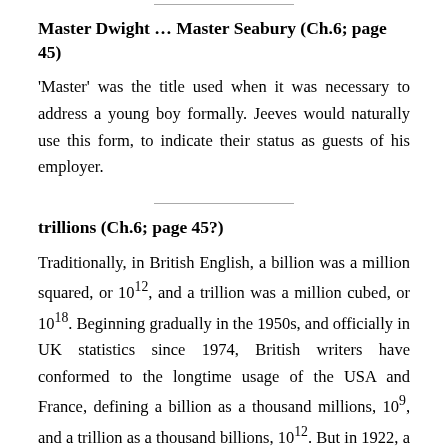Master Dwight … Master Seabury (Ch.6; page 45)
'Master' was the title used when it was necessary to address a young boy formally. Jeeves would naturally use this form, to indicate their status as guests of his employer.
trillions (Ch.6; page 45?)
Traditionally, in British English, a billion was a million squared, or 10¹², and a trillion was a million cubed, or 10¹⁸. Beginning gradually in the 1950s, and officially in UK statistics since 1974, British writers have conformed to the longtime usage of the USA and France, defining a billion as a thousand millions, 10⁹, and a trillion as a thousand billions, 10¹². But in 1922, a British boy like Master Seabury would have